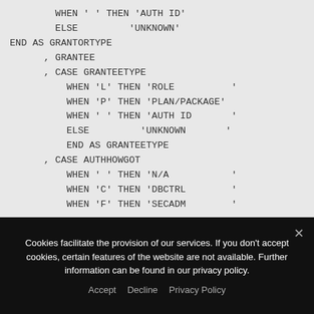WHEN ' ' THEN 'AUTH ID'
    ELSE         'UNKNOWN'
END AS GRANTORTYPE
  , GRANTEE
  , CASE GRANTEETYPE
      WHEN 'L' THEN 'ROLE          '
      WHEN 'P' THEN 'PLAN/PACKAGE'
      WHEN ' ' THEN 'AUTH ID       '
      ELSE         'UNKNOWN       '
      END AS GRANTEETYPE
  , CASE AUTHHOWGOT
      WHEN ' ' THEN 'N/A           '
      WHEN 'C' THEN 'DBCTRL        '
      WHEN 'F' THEN 'SECADM        '
Cookies facilitate the provision of our services. If you don't accept cookies, certain features of the website are not available. Further information can be found in our privacy policy.
Accept   Decline   Privacy Policy